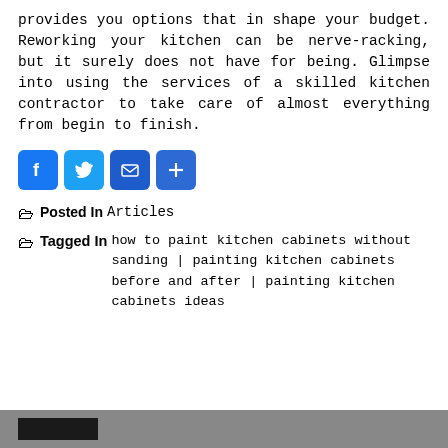provides you options that in shape your budget. Reworking your kitchen can be nerve-racking, but it surely does not have for being. Glimpse into using the services of a skilled kitchen contractor to take care of almost everything from begin to finish.
[Figure (infographic): Four social share buttons: Facebook (blue), Twitter (light blue), Email (dark blue), Share/Plus (dark blue)]
Posted In Articles
Tagged In how to paint kitchen cabinets without sanding | painting kitchen cabinets before and after | painting kitchen cabinets ideas